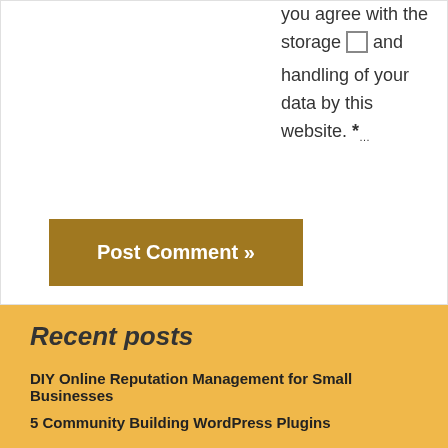you agree with the storage and handling of your data by this website. *
[Figure (other): Checkbox (unchecked) next to consent text]
Post Comment »
Recent posts
DIY Online Reputation Management for Small Businesses
5 Community Building WordPress Plugins